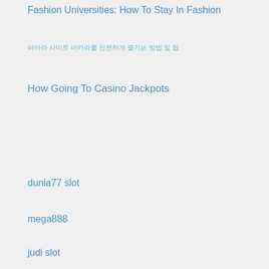Fashion Universities: How To Stay In Fashion
바카라 사이트 바카라를 안전하게 즐기는 방법 및 팁
How Going To Casino Jackpots
dunia77 slot
mega888
judi slot
Gacor88
situs judi slot online